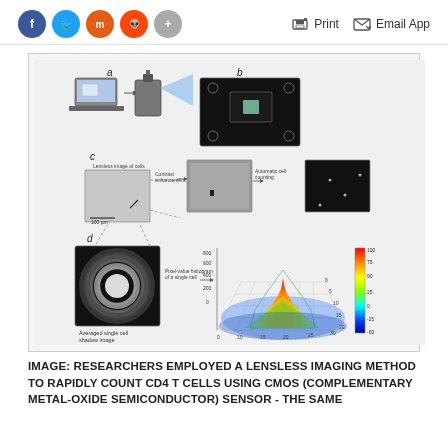[Figure (other): Social media share buttons (Facebook, Twitter, Mastodon, Reddit, Plus) and action buttons (Print, Email App) in page header]
[Figure (illustration): Scientific figure showing lensless imaging method: (a) laptop and lensless imaging device setup, (b) CMOS sensor chip photo, (c) lensless image of cells, contrast enhancement, and automatic cell counting steps, (d) averaged single cell shadow image and 3D pixel-value histogram of a single cell with color gradient scale bar.]
IMAGE: RESEARCHERS EMPLOYED A LENSLESS IMAGING METHOD TO RAPIDLY COUNT CD4 T CELLS USING CMOS (COMPLEMENTARY METAL-OXIDE SEMICONDUCTOR) SENSOR - THE SAME